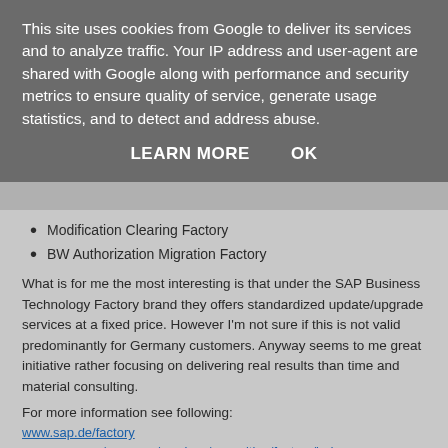This site uses cookies from Google to deliver its services and to analyze traffic. Your IP address and user-agent are shared with Google along with performance and security metrics to ensure quality of service, generate usage statistics, and to detect and address abuse.
LEARN MORE    OK
Modification Clearing Factory
BW Authorization Migration Factory
What is for me the most interesting is that under the SAP Business Technology Factory brand they offers standardized update/upgrade services at a fixed price. However I'm not sure if this is not valid predominantly for Germany customers. Anyway seems to me great initiative rather focusing on delivering real results than time and material consulting.
For more information see following:
www.sap.de/factory
www.sap.com/germany/services/consulting/factory/index.epx